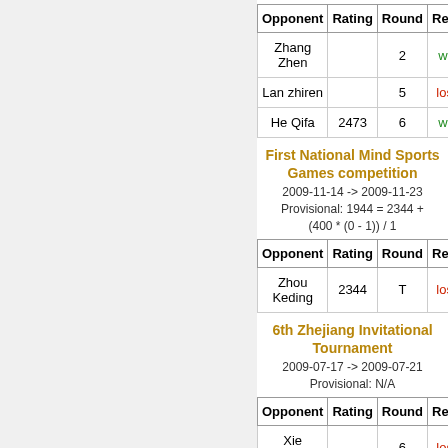| Opponent | Rating | Round | Result |
| --- | --- | --- | --- |
| Zhang Zhen |  | 2 | win |
| Lan zhiren |  | 5 | loss |
| He Qifa | 2473 | 6 | win |
First National Mind Sports Games competition
2009-11-14 -> 2009-11-23
Provisional: 1944 = 2344 + (400 * (0 - 1)) / 1
| Opponent | Rating | Round | Result |
| --- | --- | --- | --- |
| Zhou Keding | 2344 | T | loss |
6th Zhejiang Invitational Tournament
2009-07-17 -> 2009-07-21
Provisional: N/A
| Opponent | Rating | Round | Result |
| --- | --- | --- | --- |
| Xie Weixiang |  | 6 | loss |
The 3rd China National